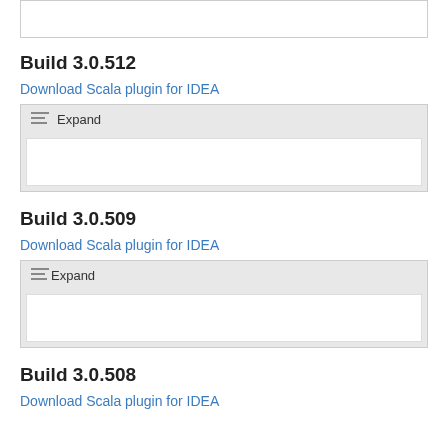[Figure (screenshot): Top partial box from previous section, white rectangle with border]
Build 3.0.512
Download Scala plugin for IDEA
[Figure (screenshot): Expand collapsible section with list icon and white content area]
Build 3.0.509
Download Scala plugin for IDEA
[Figure (screenshot): Expand collapsible section with list icon and white content area]
Build 3.0.508
Download Scala plugin for IDEA